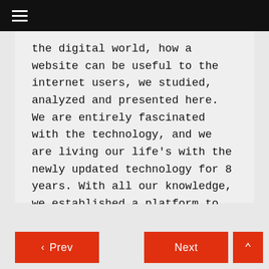☰ (hamburger menu icon)
the digital world, how a website can be useful to the internet users, we studied, analyzed and presented here. We are entirely fascinated with the technology, and we are living our life's with the newly updated technology for 8 years. With all our knowledge, we established a platform to build a proper and trustful rapport with the internet world.
< Prev    Next   ^